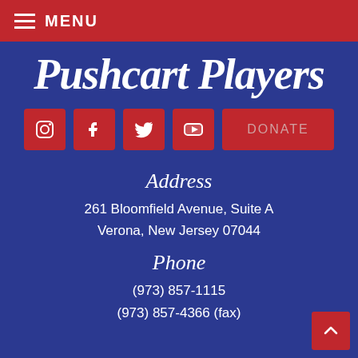MENU
Pushcart Players
[Figure (infographic): Social media icons row: Instagram, Facebook, Twitter, YouTube buttons and a DONATE button, all in red on blue background]
Address
261 Bloomfield Avenue, Suite A
Verona, New Jersey 07044
Phone
(973) 857-1115
(973) 857-4366 (fax)